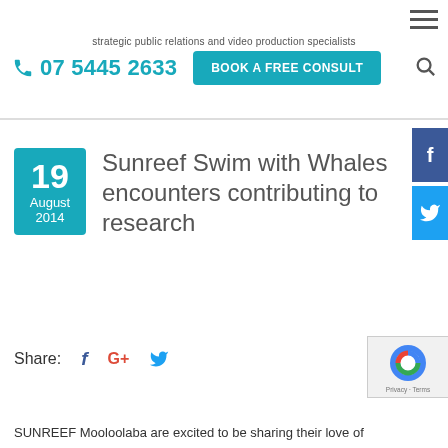strategic public relations and video production specialists
07 5445 2633
BOOK A FREE CONSULT
Sunreef Swim with Whales encounters contributing to research
19 August 2014
Share:
SUNREEF Mooloolaba are excited to be sharing their love of